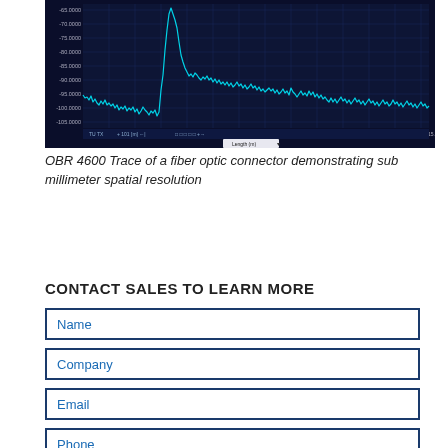[Figure (continuous-plot): OBR 4600 optical backscatter reflectometry trace showing amplitude (dB norm) vs length (m). Dark navy background with cyan/teal waveform showing a sharp peak around 3.172 m. Y-axis ranges from approximately -65 dBnorm to -125 dBnorm. X-axis shows length from about 3.144 to 3.1805 m.]
OBR 4600 Trace of a fiber optic connector demonstrating sub millimeter spatial resolution
CONTACT SALES TO LEARN MORE
Name
Company
Email
Phone